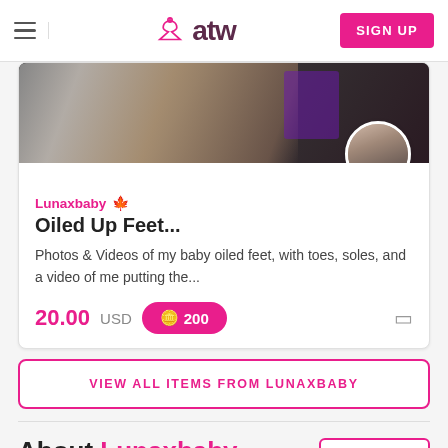atw — SIGN UP
[Figure (photo): Product listing card for Lunaxbaby showing a banner image of oiled feet with fabric, a circular avatar photo of seller, seller name Lunaxbaby with Canadian flag emoji, product title Oiled Up Feet..., description text, price 20.00 USD and 200 coins button]
Lunaxbaby 🍁
Oiled Up Feet...
Photos & Videos of my baby oiled feet, with toes, soles, and a video of me putting the...
20.00 USD  🪙 200
VIEW ALL ITEMS FROM LUNAXBABY
About Lunaxbaby
Message